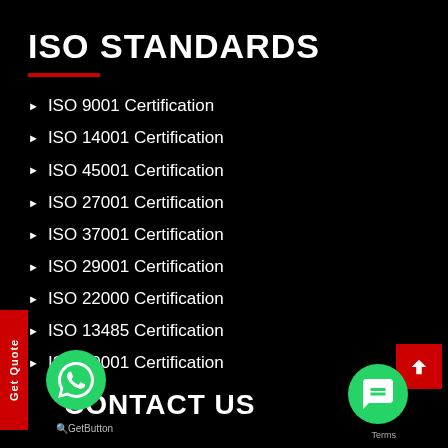ISO STANDARDS
ISO 9001 Certification
ISO 14001 Certification
ISO 45001 Certification
ISO 27001 Certification
ISO 37001 Certification
ISO 29001 Certification
ISO 22000 Certification
ISO 13485 Certification
ISO 50001 Certification
CONTACT US
GetButton